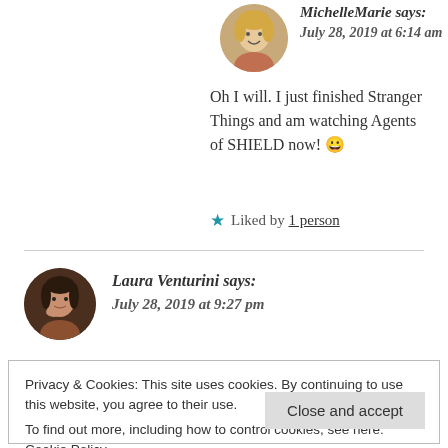[Figure (photo): Circular avatar of MichelleMarie, a woman with blonde hair]
MichelleMarie says:
July 28, 2019 at 6:14 am
Oh I will. I just finished Stranger Things and am watching Agents of SHIELD now! 😀
★ Liked by 1 person
[Figure (photo): Circular avatar of Laura Venturini, a woman with dark hair resting her chin on her hand]
Laura Venturini says:
July 28, 2019 at 9:27 pm
Privacy & Cookies: This site uses cookies. By continuing to use this website, you agree to their use.
To find out more, including how to control cookies, see here: Cookie Policy
Close and accept